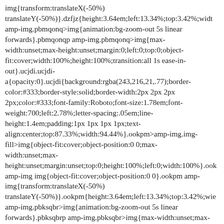img{transform:translateX(-50%) translateY(-50%)}.dzfjz{height:3.64em;left:13.34%;top:3.42%;width: amp-img.pbmqonq>img{animation:bg-zoom-out 5s linear forwards}.pbmqonqp amp-img.pbmqonq>img{max-width:unset;max-height:unset;margin:0;left:0;top:0;object-fit:cover;width:100%;height:100%;transition:all 1s ease-in-out}.ucjdi.ucjdi-a{opacity:0}.ucjdi{background:rgba(243,216,21,.77);border-color:#333;border-style:solid;border-width:2px 2px 2px 2px;color:#333;font-family:Roboto;font-size:1.78em;font-weight:700;left:2.78%;letter-spacing:.05em;line-height:1.4em;padding:1px 1px 1px 1px;text-align:center;top:87.33%;width:94.44%}.ookpm>amp-img.img-fill>img{object-fit:cover;object-position:0 0;max-width:unset;max-height:unset;margin:unset;top:0;height:100%;left:0;width:100%}.ook amp-img img{object-fit:cover;object-position:0 0}.ookpm amp-img{transform:translateX(-50%) translateY(-50%)}.ookpm{height:3.64em;left:13.34%;top:3.42%;wie amp-img.pbksqbr>img{animation:bg-zoom-out 5s linear forwards}.pbksqbrp amp-img.pbksqbr>img{max-width:unset;max-height:unset;margin:0;left:0;top:0;object-fit:cover;width:100%;height:100%;transition:all 1s ease-in-out}.ndtun.ndtun-a{opacity:0}.ndtun{background:rgba(243,216,21,.77);border-